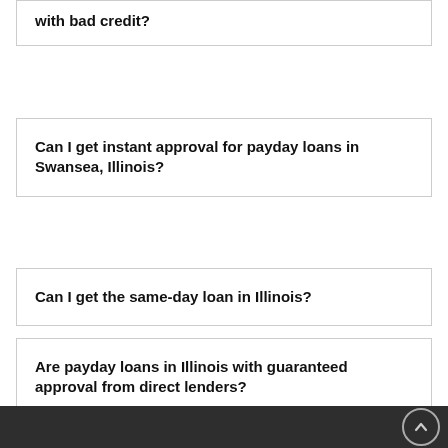Can I get a payday loan in Swansea, Illinois, with bad credit?
Can I get instant approval for payday loans in Swansea, Illinois?
Can I get the same-day loan in Illinois?
Are payday loans in Illinois with guaranteed approval from direct lenders?